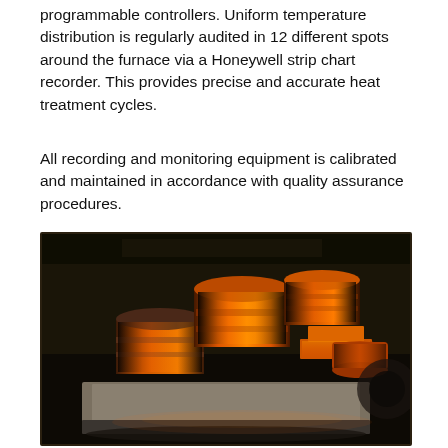programmable controllers. Uniform temperature distribution is regularly audited in 12 different spots around the furnace via a Honeywell strip chart recorder. This provides precise and accurate heat treatment cycles.
All recording and monitoring equipment is calibrated and maintained in accordance with quality assurance procedures.
[Figure (photo): Industrial heat treatment furnace photo showing glowing orange-red metal parts (cylindrical and stepped shapes) placed on a flat refractory platform inside a dark furnace environment. The metal parts are heated to bright orange glow indicating high temperature.]